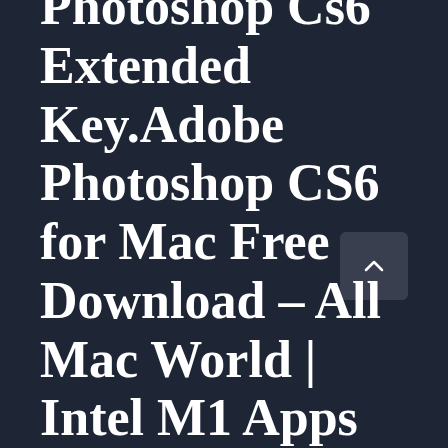Photoshop Cs6 Extended Key.Adobe Photoshop CS6 for Mac Free Download – All Mac World | Intel M1 Apps